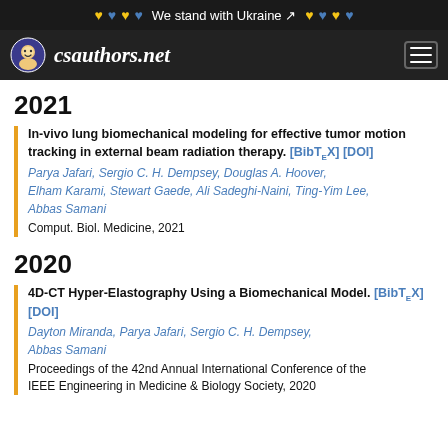We stand with Ukraine — csauthors.net
2021
In-vivo lung biomechanical modeling for effective tumor motion tracking in external beam radiation therapy. [BibTeX] [DOI]
Parya Jafari, Sergio C. H. Dempsey, Douglas A. Hoover, Elham Karami, Stewart Gaede, Ali Sadeghi-Naini, Ting-Yim Lee, Abbas Samani
Comput. Biol. Medicine, 2021
2020
4D-CT Hyper-Elastography Using a Biomechanical Model. [BibTeX] [DOI]
Dayton Miranda, Parya Jafari, Sergio C. H. Dempsey, Abbas Samani
Proceedings of the 42nd Annual International Conference of the IEEE Engineering in Medicine & Biology Society, 2020